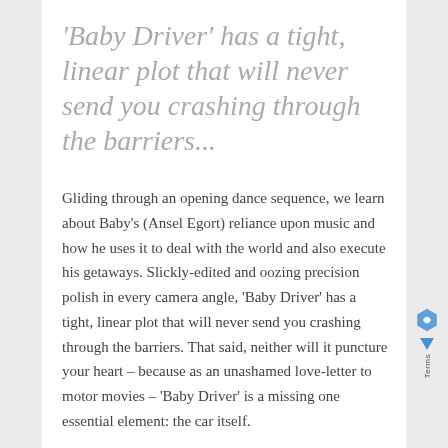'Baby Driver' has a tight, linear plot that will never send you crashing through the barriers...
Gliding through an opening dance sequence, we learn about Baby's (Ansel Egort) reliance upon music and how he uses it to deal with the world and also execute his getaways. Slickly-edited and oozing precision polish in every camera angle, 'Baby Driver' has a tight, linear plot that will never send you crashing through the barriers. That said, neither will it puncture your heart – because as an unashamed love-letter to motor movies – 'Baby Driver' is a missing one essential element: the car itself.
In the mythology of great on-screen car chases, there is